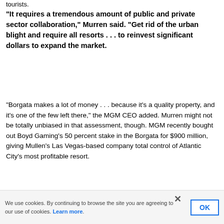tourists.
“It requires a tremendous amount of public and private sector collaboration,” Murren said. “Get rid of the urban blight and require all resorts . . . to reinvest significant dollars to expand the market.
“Borgata makes a lot of money . . . because it’s a quality property, and it’s one of the few left there,” the MGM CEO added. Murren might not be totally unbiased in that assessment, though. MGM recently bought out Boyd Gaming’s 50 percent stake in the Borgata for $900 million, giving Mullen’s Las Vegas-based company total control of Atlantic City’s most profitable resort.
We use cookies. By continuing to browse the site you are agreeing to our use of cookies. Learn more.